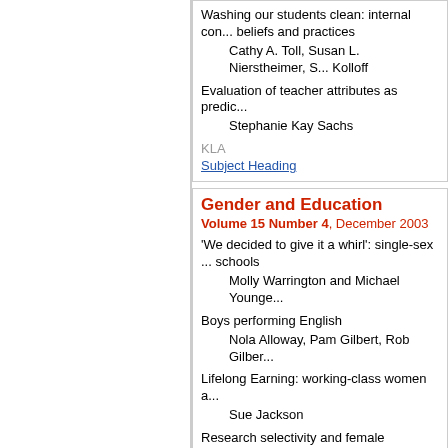Washing our students clean: internal con... beliefs and practices
Cathy A. Toll, Susan L. Nierstheimer, S... Kolloff
Evaluation of teacher attributes as predic...
Stephanie Kay Sachs
KLA
Subject Heading
Gender and Education
Volume 15 Number 4, December 2003
'We decided to give it a whirl': single-sex... schools
Molly Warrington and Michael Younge...
Boys performing English
Nola Alloway, Pam Gilbert, Rob Gilber...
Lifelong Earning: working-class women a...
Sue Jackson
Research selectivity and female academi... club and barrack yard to smart macho?
Sandra Harley
'I'm a woman before I'm an RE Teacher':... schools
Pat Sikes and Judith Everington
Crossing the divide: bridging the disjunct... practice-oriented literature about masculi...
Marcus B. Weaver-Hightower